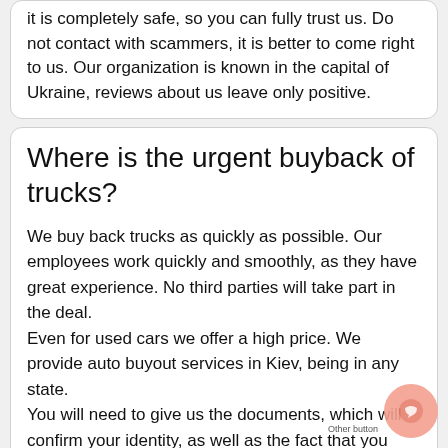it is completely safe, so you can fully trust us. Do not contact with scammers, it is better to come right to us. Our organization is known in the capital of Ukraine, reviews about us leave only positive.
Where is the urgent buyback of trucks?
We buy back trucks as quickly as possible. Our employees work quickly and smoothly, as they have great experience. No third parties will take part in the deal. Even for used cars we offer a high price. We provide auto buyout services in Kiev, being in any state. You will need to give us the documents, which will confirm your identity, as well as the fact that you really are the owner of the truck. All the rest we take upon ourselves. During the inspection of the truck, the specialist will evaluate how serious the damage is, determine whether